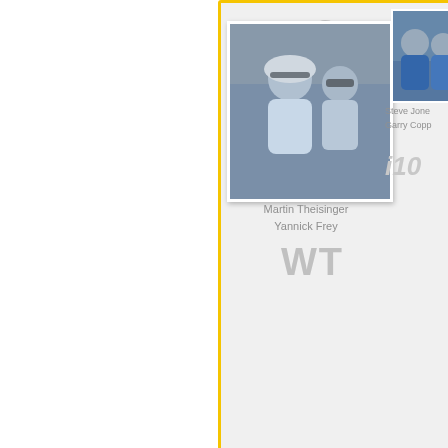[Figure (photo): Scoreboard card showing position 2 with photos of two sailing teams. Left photo shows Martin Theisinger and Yannick Frey in a sailboat cockpit. Right photo shows Steve Jones and Garry Copp standing together outdoors. Card shows class WT and i10 designation. Yellow border frame with preliminary scoring note.]
The prize-giving ceremony
The prize-giving ceremony will begin in a few mi
Dinner starting from 6.30 p.m.
[Figure (photo): Food photograph showing what appears to be a seafood or cheese dish.]